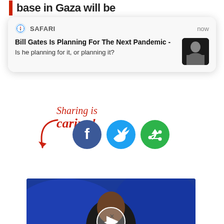base in Gaza will be
[Figure (screenshot): Safari browser notification card showing: 'Bill Gates Is Planning For The Next Pandemic -' with subtitle 'Is he planning for it, or planning it?' and a thumbnail of Bill Gates, timestamped 'now']
Sharing is caring!
[Figure (infographic): Red arrow pointing to Facebook, Twitter, and share/sync social media icon buttons]
[Figure (photo): Video thumbnail showing a man in a suit speaking at a podium against a blue background, with a play button circle overlay]
Overlooked Massacre In The